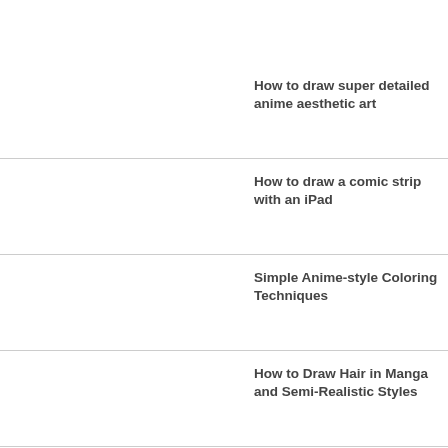How to draw super detailed anime aesthetic art
How to draw a comic strip with an iPad
Simple Anime-style Coloring Techniques
How to Draw Hair in Manga and Semi-Realistic Styles